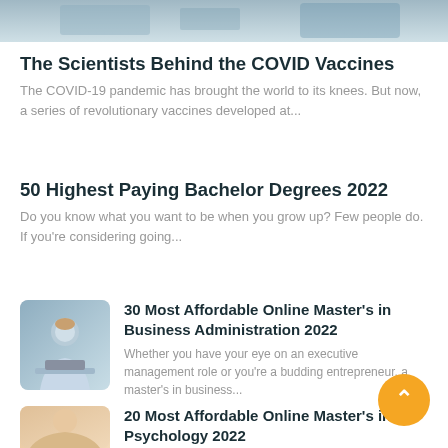[Figure (photo): Cropped top portion of a blurred photo, likely an office or laboratory setting]
The Scientists Behind the COVID Vaccines
The COVID-19 pandemic has brought the world to its knees. But now, a series of revolutionary vaccines developed at...
50 Highest Paying Bachelor Degrees 2022
Do you know what you want to be when you grow up? Few people do. If you're considering going...
[Figure (photo): Woman sitting at laptop, likely in an office or business setting]
30 Most Affordable Online Master's in Business Administration 2022
Whether you have your eye on an executive management role or you're a budding entrepreneur, a master's in business...
[Figure (photo): Partial thumbnail image for psychology article]
20 Most Affordable Online Master's in Psychology 2022